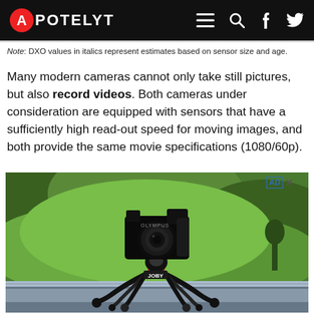APOTELYT
Note: DXO values in italics represent estimates based on sensor size and age.
Many modern cameras cannot only take still pictures, but also record videos. Both cameras under consideration are equipped with sensors that have a sufficiently high read-out speed for moving images, and both provide the same movie specifications (1080/60p).
[Figure (photo): An Olympus DSLR camera mounted on a JOBY flexible tripod, set against a green hillside background outdoors.]